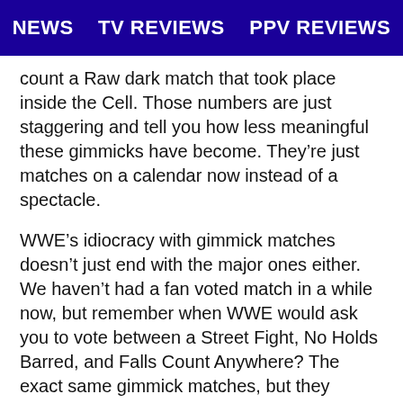NEWS   TV REVIEWS   PPV REVIEWS
count a Raw dark match that took place inside the Cell. Those numbers are just staggering and tell you how less meaningful these gimmicks have become. They're just matches on a calendar now instead of a spectacle.
WWE's idiocracy with gimmick matches doesn't just end with the major ones either. We haven't had a fan voted match in a while now, but remember when WWE would ask you to vote between a Street Fight, No Holds Barred, and Falls Count Anywhere? The exact same gimmick matches, but they thought the fans would be fooled because of the fancy names. And sadly WWE was right! Street Fight sounds the coolest, but if you really wanted the best match possibility, you SHOULD want a Falls Count Anywhere match. The name of the match tells you it